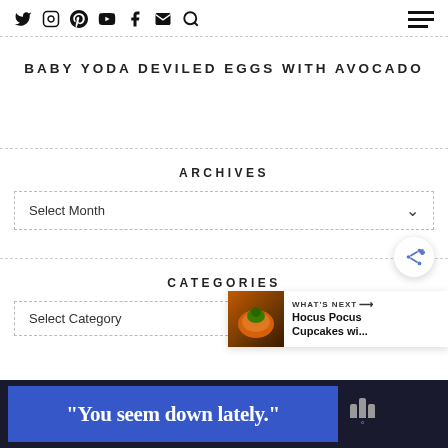Navigation icons: Twitter, Instagram, Pinterest, YouTube, Facebook, Email, Search, Hamburger menu
BABY YODA DEVILED EGGS WITH AVOCADO
ARCHIVES
Select Month
CATEGORIES
Select Category
[Figure (infographic): What's Next banner showing Hocus Pocus Cupcakes wi... with a food thumbnail image]
[Figure (other): Share button with add/share icon]
"You seem down lately."
Advertisement banner at bottom of page